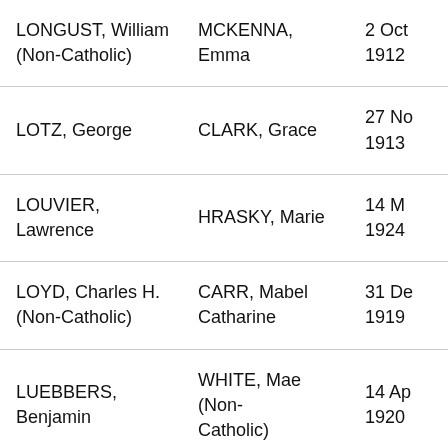| Groom | Bride | Date |
| --- | --- | --- |
| LONGUST, William (Non-Catholic) | MCKENNA, Emma | 2 Oct 1912 |
| LOTZ, George | CLARK, Grace | 27 No 1913 |
| LOUVIER, Lawrence | HRASKY, Marie | 14 M 1924 |
| LOYD, Charles H. (Non-Catholic) | CARR, Mabel Catharine | 31 De 1919 |
| LUEBBERS, Benjamin | WHITE, Mae (Non-Catholic) | 14 Ap 1920 |